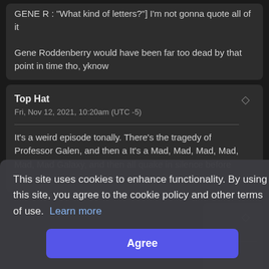GENE R : "What kind of letters?"] I'm not gonna quote all of it

Gene Roddenberry would have been far too dead by that point in time tho, yknow
Top Hat
Fri, Nov 12, 2021, 10:20am (UTC -5)

It's a weird episode tonally. There's the tragedy of Professor Galen, and then a It's a Mad, Mad, Mad, Mad, Mad, Mad Galaxy, and then all quake in silence before the
This site uses cookies to enhance functionality. By using this site, you agree to the cookie policy and other terms of use. Learn more
Agree
eason